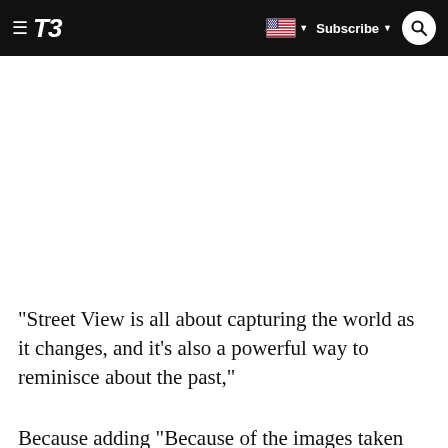T3 | Subscribe
"Street View is all about capturing the world as it changes, and it's also a powerful way to reminisce about the past," Because adding "Because of the images taken...